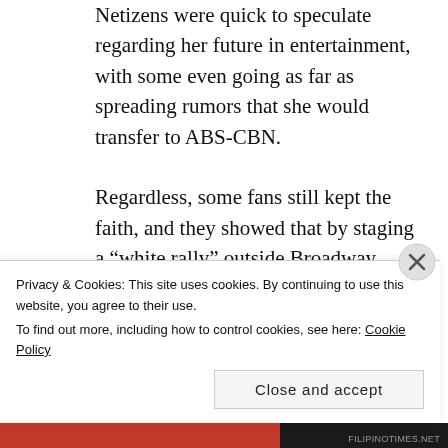Netizens were quick to speculate regarding her future in entertainment, with some even going as far as spreading rumors that she would transfer to ABS-CBN.
Regardless, some fans still kept the faith, and they showed that by staging a “white rally” outside Broadway Centrum last November 30. However, with ‘Eat Bulaga’ standing behind ‘It’s…
Privacy & Cookies: This site uses cookies. By continuing to use this website, you agree to their use.
To find out more, including how to control cookies, see here: Cookie Policy
Close and accept